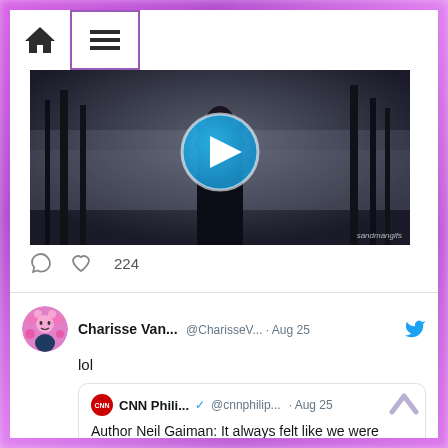[Figure (screenshot): Twitter/social media feed screenshot showing a video thumbnail with play button (dark atmospheric scene, watermark 'sandmangifs'), like/comment action bar with 224 likes, and a tweet by Charisse Van... (@CharisseV... · Aug 25) saying 'lol' with a quoted tweet from CNN Phili... (@cnnphilip... · Aug 25) with text 'Author Neil Gaiman: It always felt like we were ahead of our time, coming out in 1988,1989. But the great thing about getting ahead of your time is you're not']
Navigation bar with home icon and menu (hamburger) icon